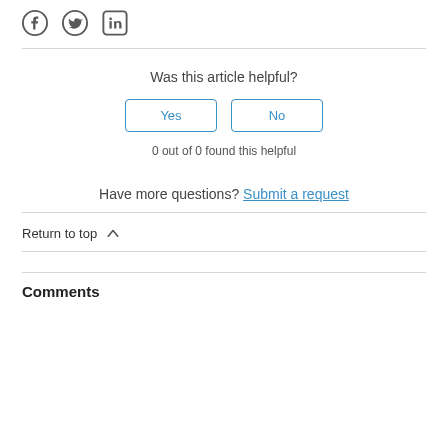[Figure (other): Social share icons: Facebook, Twitter, LinkedIn]
Was this article helpful?
Yes | No (buttons)
0 out of 0 found this helpful
Have more questions? Submit a request
Return to top ∧
Comments